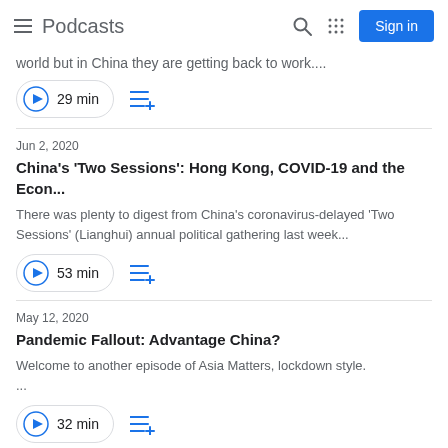Podcasts
world but in China they are getting back to work....
▶ 29 min
Jun 2, 2020
China's 'Two Sessions': Hong Kong, COVID-19 and the Econ...
There was plenty to digest from China's coronavirus-delayed 'Two Sessions' (Lianghui) annual political gathering last week...
▶ 53 min
May 12, 2020
Pandemic Fallout: Advantage China?
Welcome to another episode of Asia Matters, lockdown style. ...
▶ 32 min